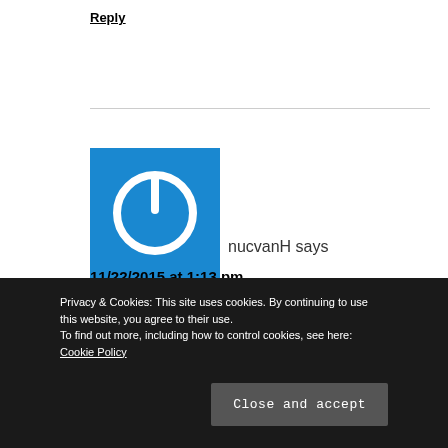Reply
[Figure (illustration): Blue square avatar with white power button icon]
nucvanH says
11/22/2015 at 1:13 pm
The USB device dynamically assigns its hbaXX numbers. So how to get the SATP rules to stick ?
Privacy & Cookies: This site uses cookies. By continuing to use this website, you agree to their use.
To find out more, including how to control cookies, see here: Cookie Policy
Close and accept